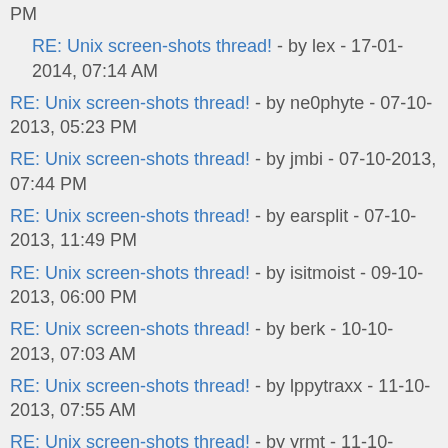PM
RE: Unix screen-shots thread! - by lex - 17-01-2014, 07:14 AM
RE: Unix screen-shots thread! - by ne0phyte - 07-10-2013, 05:23 PM
RE: Unix screen-shots thread! - by jmbi - 07-10-2013, 07:44 PM
RE: Unix screen-shots thread! - by earsplit - 07-10-2013, 11:49 PM
RE: Unix screen-shots thread! - by isitmoist - 09-10-2013, 06:00 PM
RE: Unix screen-shots thread! - by berk - 10-10-2013, 07:03 AM
RE: Unix screen-shots thread! - by lppytraxx - 11-10-2013, 07:55 AM
RE: Unix screen-shots thread! - by yrmt - 11-10-2013, 10:46 AM
RE: Unix screen-shots thread! - by kirby - 11-10-2013, 12:25 PM
RE: Unix screen-shots thread! - by isitmoist - 11-10-2013, 02:24 PM
RE: Unix screen-shots thread! - by tbuck153 - 11-10-2013,